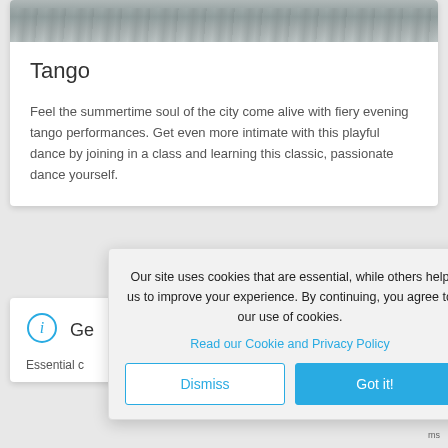[Figure (photo): Partial photograph visible at top of card, showing what appears to be water or a textured surface in grey tones]
Tango
Feel the summertime soul of the city come alive with fiery evening tango performances. Get even more intimate with this playful dance by joining in a class and learning this classic, passionate dance yourself.
[Figure (illustration): Blue circle info icon (i symbol)]
Ge
Essential c
Our site uses cookies that are essential, while others help us to improve your experience. By continuing, you agree to our use of cookies.
Read our Cookie and Privacy Policy
Dismiss
Got it!